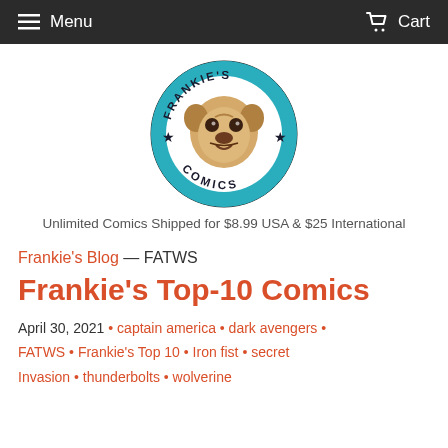Menu   Cart
[Figure (logo): Frankie's Comics circular logo with a pug dog illustration in the center, teal background with 'FRANKIE'S COMICS' text around the ring and stars]
Unlimited Comics Shipped for $8.99 USA & $25 International
Frankie's Blog — FATWS
Frankie's Top-10 Comics
April 30, 2021  •  captain america  •  dark avengers  •  FATWS  •  Frankie's Top 10  •  Iron fist  •  secret Invasion  •  thunderbolts  •  wolverine